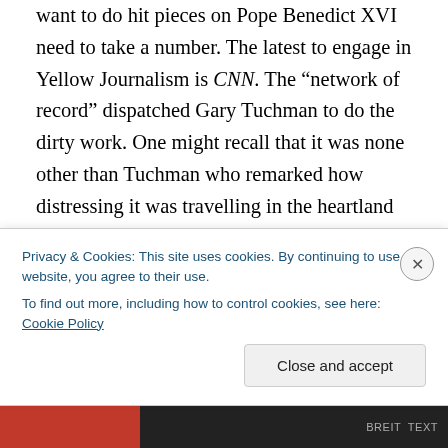want to do hit pieces on Pope Benedict XVI need to take a number. The latest to engage in Yellow Journalism is CNN. The “network of record” dispatched Gary Tuchman to do the dirty work. One might recall that it was none other than Tuchman who remarked how distressing it was travelling in the heartland during the 2008 Election campaign. He complained that some who recognized him told him that their Middle American views and ideas were repeatedly mocked by the mainstream media, all the while those of the liberal establishment were hailed. Tuchman’s words
Privacy & Cookies: This site uses cookies. By continuing to use this website, you agree to their use.
To find out more, including how to control cookies, see here: Cookie Policy
Close and accept